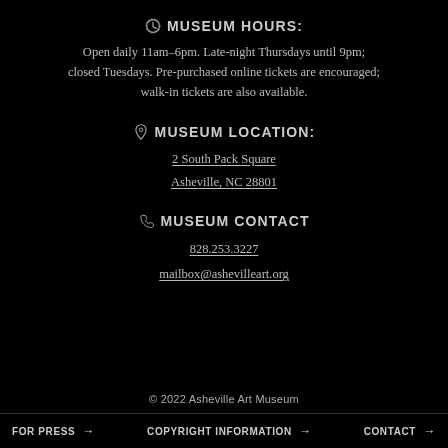MUSEUM HOURS:
Open daily 11am–6pm. Late-night Thursdays until 9pm; closed Tuesdays. Pre-purchased online tickets are encouraged; walk-in tickets are also available.
MUSEUM LOCATION:
2 South Pack Square
Asheville, NC 28801
MUSEUM CONTACT
828.253.3227
mailbox@ashevilleart.org
© 2022 Asheville Art Museum
FOR PRESS →   COPYRIGHT INFORMATION →   CONTACT →